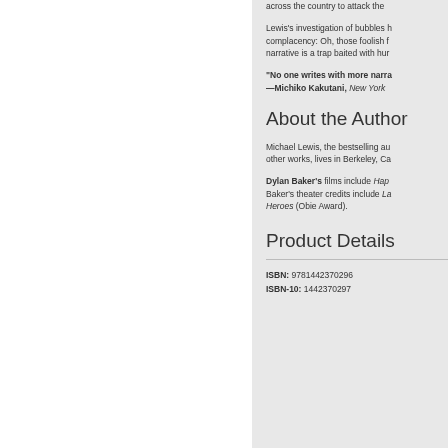across the country to attack the
Lewis's investigation of bubbles complacency: Oh, those foolish narrative is a trap baited with hur
"No one writes with more narra —Michiko Kakutani, New York
About the Author
Michael Lewis, the bestselling au other works, lives in Berkeley, Ca
Dylan Baker's films include Hap Baker's theater credits include La Heroes (Obie Award).
Product Details
ISBN: 9781442370296
ISBN-10: 1442370297